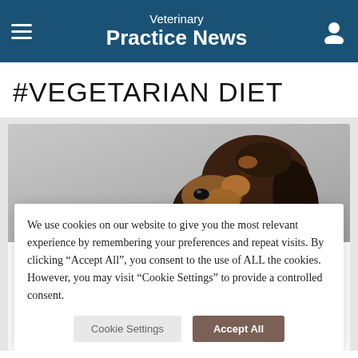Veterinary Practice News
#VEGETARIAN DIET
[Figure (photo): Close-up photo of a dachshund dog (black and tan) against a white background, head and upper body visible, looking slightly upward.]
We use cookies on our website to give you the most relevant experience by remembering your preferences and repeat visits. By clicking “Accept All”, you consent to the use of ALL the cookies. However, you may visit “Cookie Settings” to provide a controlled consent.
Pet owners frequently project their beliefs about human health onto their companion animals. Anxieties about purported harms from